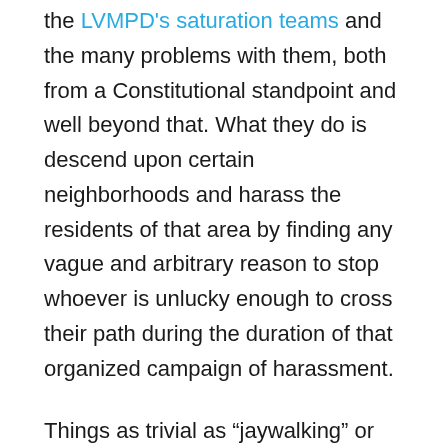the LVMPD's saturation teams and the many problems with them, both from a Constitutional standpoint and well beyond that. What they do is descend upon certain neighborhoods and harass the residents of that area by finding any vague and arbitrary reason to stop whoever is unlucky enough to cross their path during the duration of that organized campaign of harassment.
Things as trivial as “jaywalking” or riding a bike without reflectors within a residential neighborhood becomes a pretense for them to detain and investigate or possibly search someone. Essentially, they are just playing the odds that if they stop enough random people within certain